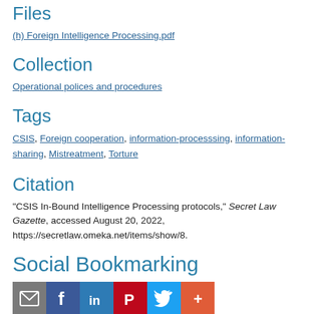Files
(h) Foreign Intelligence Processing.pdf
Collection
Operational polices and procedures
Tags
CSIS, Foreign cooperation, information-processsing, information-sharing, Mistreatment, Torture
Citation
“CSIS In-Bound Intelligence Processing protocols,” Secret Law Gazette, accessed August 20, 2022, https://secretlaw.omeka.net/items/show/8.
Social Bookmarking
[Figure (infographic): Row of social bookmarking icon buttons: email (grey), Facebook (blue), LinkedIn (teal-blue), Pinterest (red), Twitter (light blue), Google+ (orange-red)]